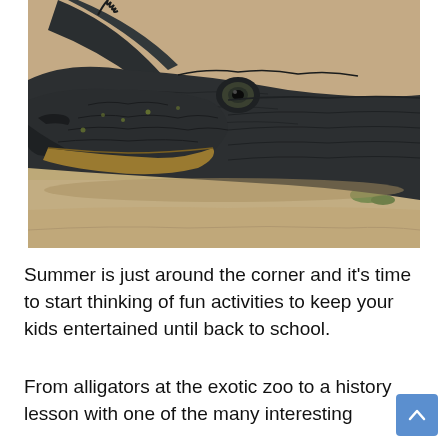[Figure (photo): Close-up photograph of an alligator resting on sandy ground, facing left. The alligator's dark gray scaly head and body fill most of the frame, with sandy soil and sparse green vegetation visible.]
Summer is just around the corner and it's time to start thinking of fun activities to keep your kids entertained until back to school.
From alligators at the exotic zoo to a history lesson with one of the many interesting